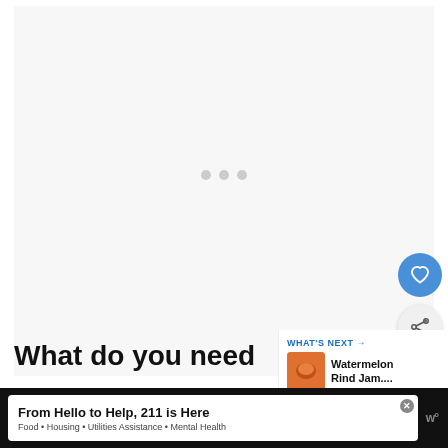[Figure (screenshot): White/light gray blank content area with three small gray dots in the center, indicating a loading state]
[Figure (other): Blue circular heart/favorite button on the right side]
[Figure (other): Light gray circular share button with share icon on the right side]
What do you need
WHAT'S NEXT → Watermelon Rind Jam....
From Hello to Help, 211 is Here
Food • Housing • Utilities Assistance • Mental Health